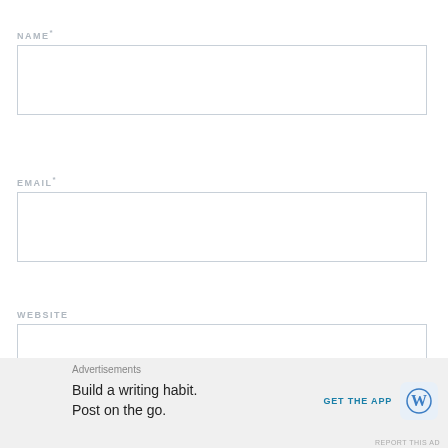NAME *
[Figure (other): Empty input field for NAME]
EMAIL *
[Figure (other): Empty input field for EMAIL]
WEBSITE
[Figure (other): Empty input field for WEBSITE]
Advertisements
Build a writing habit. Post on the go.
GET THE APP
REPORT THIS AD